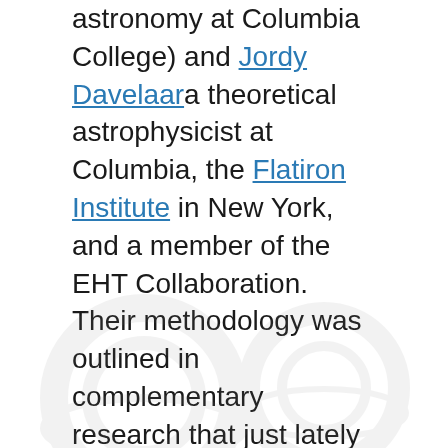astronomy at Columbia College) and Jordy Davelaara theoretical astrophysicist at Columbia, the Flatiron Institute in New York, and a member of the EHT Collaboration. Their methodology was outlined in complementary research that just lately appeared in Bodily Evaluation Letters different Bodily Evaluation D. As they point out in these papers, their approach combines two methods – interferometry and gravitational lensing.